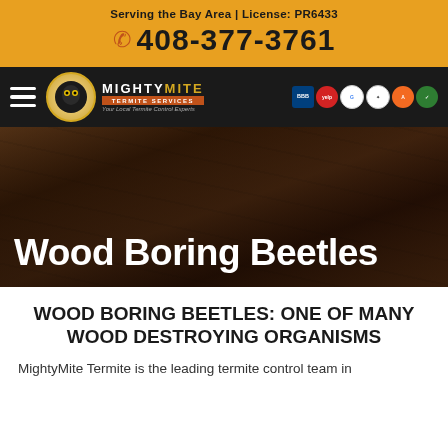Serving the Bay Area | License: PR6433
408-377-3761
[Figure (logo): Mighty Mite Termite Services logo with navigation bar, hamburger menu, and certification badges (BBB, Yelp, Google, and others)]
Wood Boring Beetles
WOOD BORING BEETLES: ONE OF MANY WOOD DESTROYING ORGANISMS
MightyMite Termite is the leading termite control team in